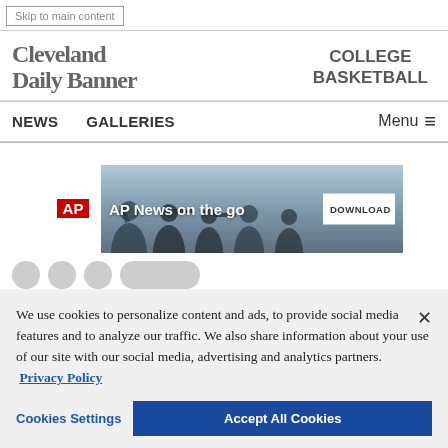Skip to main content
[Figure (logo): Cleveland Daily Banner newspaper logo in serif/blackletter style]
COLLEGE
BASKETBALL
NEWS   GALLERIES   Menu ≡
[Figure (screenshot): AP News on the go advertisement banner with silhouettes and DOWNLOAD button]
We use cookies to personalize content and ads, to provide social media features and to analyze our traffic. We also share information about your use of our site with our social media, advertising and analytics partners. Privacy Policy
Cookies Settings   Accept All Cookies